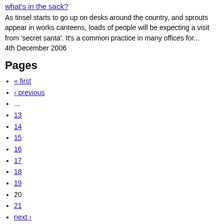what's in the sack?
As tinsel starts to go up on desks around the country, and sprouts appear in works canteens, loads of people will be expecting a visit from 'secret santa'. It's a common practice in many offices for...
4th December 2006
Pages
« first
‹ previous
...
13
14
15
16
17
18
19
20
21
next ›
last »